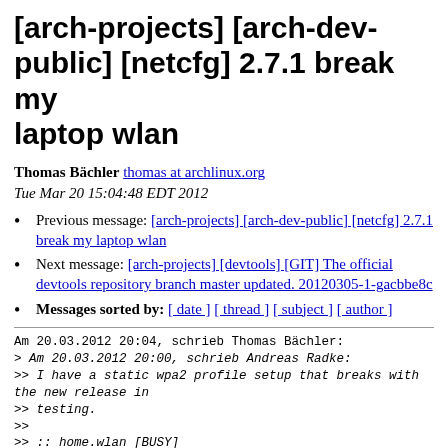[arch-projects] [arch-dev-public] [netcfg] 2.7.1 break my laptop wlan
Thomas Bächler thomas at archlinux.org
Tue Mar 20 15:04:48 EDT 2012
Previous message: [arch-projects] [arch-dev-public] [netcfg] 2.7.1 break my laptop wlan
Next message: [arch-projects] [devtools] [GIT] The official devtools repository branch master updated. 20120305-1-gacbbe8c
Messages sorted by: [ date ] [ thread ] [ subject ] [ author ]
Am 20.03.2012 20:04, schrieb Thomas Bächler:
> Am 20.03.2012 20:00, schrieb Andreas Radke:
>> I have a static wpa2 profile setup that breaks with the new release in
>> testing.
>>
>> :: home.wlan [BUSY]
>>  RTNETLINK answers: No such process